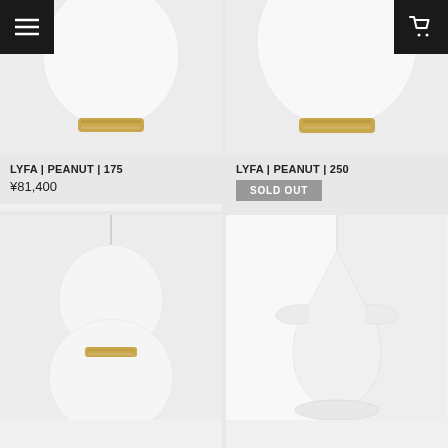[Figure (photo): LYFA PEANUT 175 pendant lamp with white globe and brass base, top cropped]
LYFA | PEANUT | 175
¥81,400
[Figure (photo): LYFA PEANUT 250 pendant lamp with white globe and brass base, top cropped]
LYFA | PEANUT | 250
SOLD OUT
[Figure (photo): LYFA PEANUT 400 large pendant lamp with peanut-shaped white glass shade and brass fitting]
LYFA | PEANUT | 400
¥183,700
[Figure (photo): LYFA NINOTCHKA 195 WHITE pendant lamp with angular white shade]
LYFA | NINOTCHKA | 195 | WHITE
¥74,800